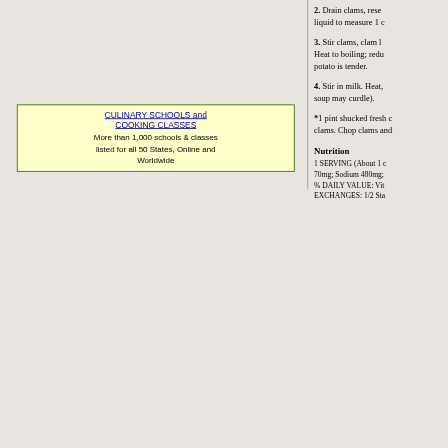2. Drain clams, rese liquid to measure 1 c
3. Stir clams, clam l Heat to boiling; redu potato is tender.
4. Stir in milk. Heat, soup may curdle).
*1 pint shucked fresh c clams. Chop clams and
Nutrition
1 SERVING (About 1 c 70mg; Sodium 480mg; % DAILY VALUE: Vit EXCHANGES: 1/2 Sta
[Figure (infographic): Advertisement box with yellow background and green border. Contains link text 'CULINARY SCHOOLS and COOKING CLASSES' in blue underlined text, and body text 'More than 1,000 schools & classes listed for all 50 States, Online and Worldwide']